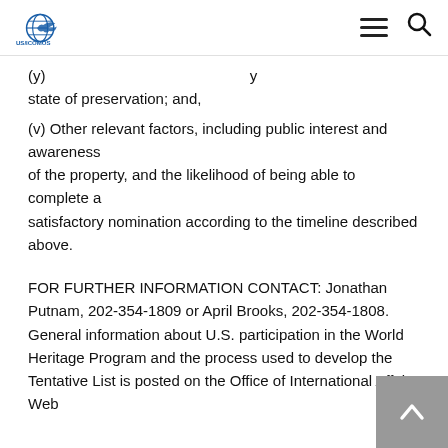US/ICOMOS logo, hamburger menu, search icon
(y) ... property ... ing y state of preservation; and,
(v) Other relevant factors, including public interest and awareness of the property, and the likelihood of being able to complete a satisfactory nomination according to the timeline described above.
FOR FURTHER INFORMATION CONTACT: Jonathan Putnam, 202-354-1809 or April Brooks, 202-354-1808. General information about U.S. participation in the World Heritage Program and the process used to develop the Tentative List is posted on the Office of International Affairs Web